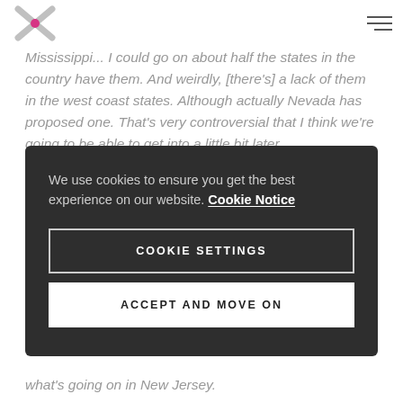[Logo and navigation header]
Mississippi... I could go on about half the states in the country have them. And weirdly, [there's] a lack of them in the west coast states. Although actually Nevada has proposed one. That's very controversial that I think we're going to be able to get into a little bit later.
We use cookies to ensure you get the best experience on our website. Cookie Notice
COOKIE SETTINGS
ACCEPT AND MOVE ON
what's going on in New Jersey.